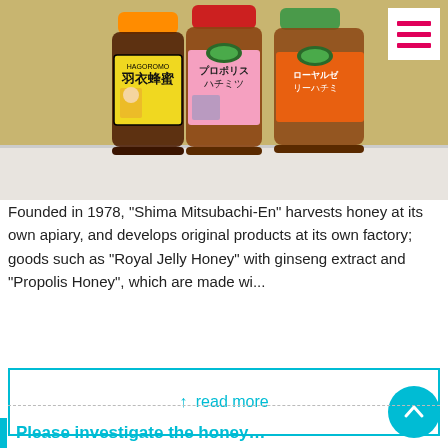[Figure (photo): Three bottles of Japanese honey products (Shima Mitsubachi-En brand) with orange caps and colorful labels featuring Japanese text and traditional imagery, displayed on a white surface against a tan/beige background.]
Founded in 1978, "Shima Mitsubachi-En" harvests honey at its own apiary, and develops original products at its own factory; goods such as "Royal Jelly Honey" with ginseng extract and "Propolis Honey", which are made wi...
↑ read more